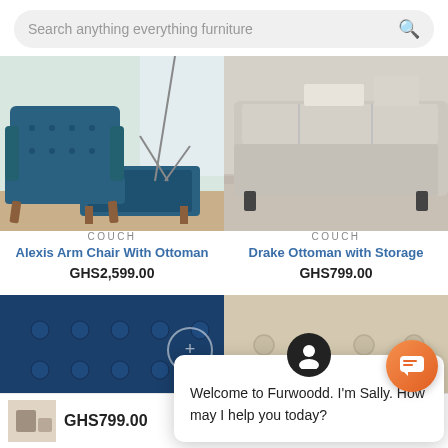Search anything everything furniture
[Figure (photo): Teal midcentury modern arm chair with ottoman on wood legs]
COUCH
Alexis Arm Chair With Ottoman
GHS2,599.00
[Figure (photo): Gray upholstered storage ottoman]
COUCH
Drake Ottoman with Storage
GHS799.00
[Figure (photo): Dark navy blue tufted accent chair, partial view]
[Figure (photo): Cream/beige tufted sofa partial view]
Welcome to Furwoodd. I'm Sally. How may I help you today?
GHS799.00
ADD TO CART